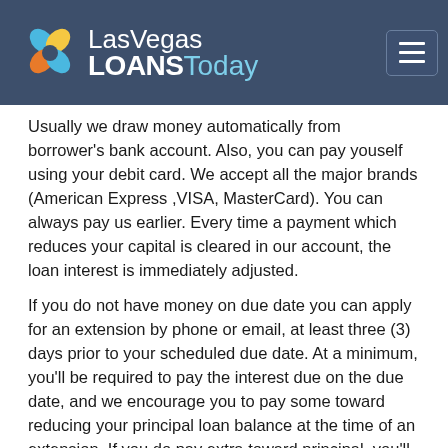[Figure (logo): Las Vegas Loans Today logo with colorful flower icon and text on dark blue header bar]
Usually we draw money automatically from borrower’s bank account. Also, you can pay youself using your debit card. We accept all the major brands (American Express ,VISA, MasterCard). You can always pay us earlier. Every time a payment which reduces your capital is cleared in our account, the loan interest is immediately adjusted.
If you do not have money on due date you can apply for an extension by phone or email, at least three (3) days prior to your scheduled due date. At a minimum, you’ll be required to pay the interest due on the due date, and we encourage you to pay some toward reducing your principal loan balance at the time of an extension. If you do pay extra toward principal, you’ll reduce the amount of interest you would otherwise pay.